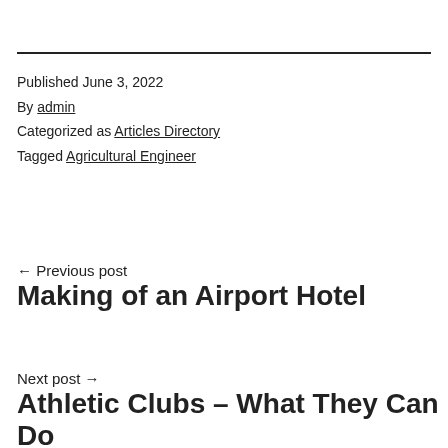Published June 3, 2022
By admin
Categorized as Articles Directory
Tagged Agricultural Engineer
← Previous post
Making of an Airport Hotel
Next post →
Athletic Clubs – What They Can Do